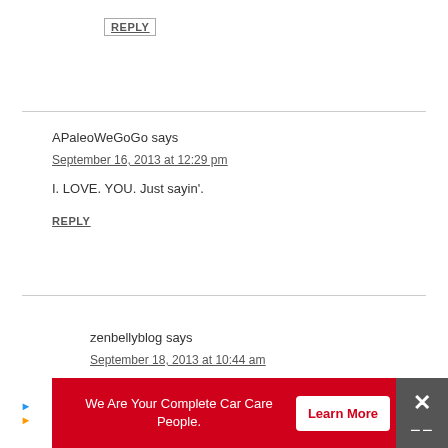REPLY
APaleoWeGoGo says
September 16, 2013 at 12:29 pm
I. LOVE. YOU. Just sayin'.
REPLY
zenbellyblog says
September 18, 2013 at 10:44 am
[Figure (infographic): Red advertisement banner: 'We Are Your Complete Car Care People.' with a white Learn More button and close/menu icons on the right]